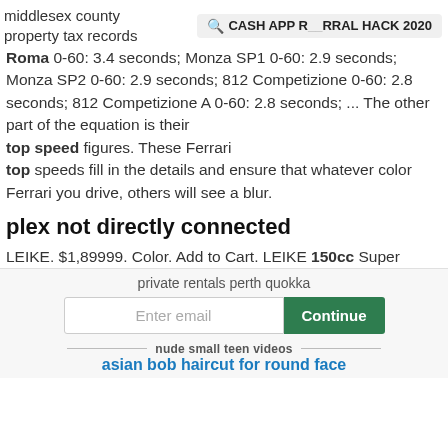middlesex county property tax records
CASH APP REFERRAL HACK 2020
Roma 0-60: 3.4 seconds; Monza SP1 0-60: 2.9 seconds; Monza SP2 0-60: 2.9 seconds; 812 Competizione 0-60: 2.8 seconds; 812 Competizione A 0-60: 2.8 seconds; ... The other part of the equation is their top speed figures. These Ferrari top speeds fill in the details and ensure that whatever color Ferrari you drive, others will see a blur.
plex not directly connected
LEIKE. $1,89999. Color. Add to Cart. LEIKE 150cc Super
private rentals perth quokka
Enter email
Continue
nude small teen videos
asian bob haircut for round face